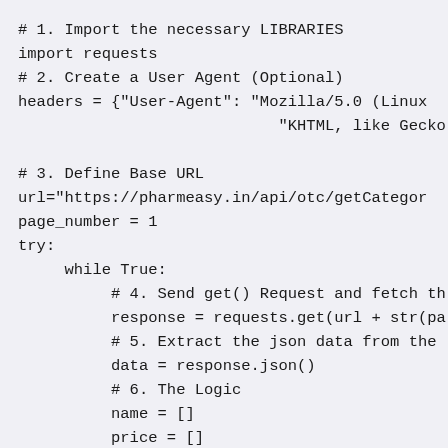# 1. Import the necessary LIBRARIES
import requests
# 2. Create a User Agent (Optional)
headers = {"User-Agent": "Mozilla/5.0 (Linux
                            "KHTML, like Gecko)

# 3. Define Base URL
url="https://pharmeasy.in/api/otc/getCategor
page_number = 1
try:
     while True:
          # 4. Send get() Request and fetch th
          response = requests.get(url + str(pa
          # 5. Extract the json data from the 
          data = response.json()
          # 6. The Logic
          name = []
          price = []